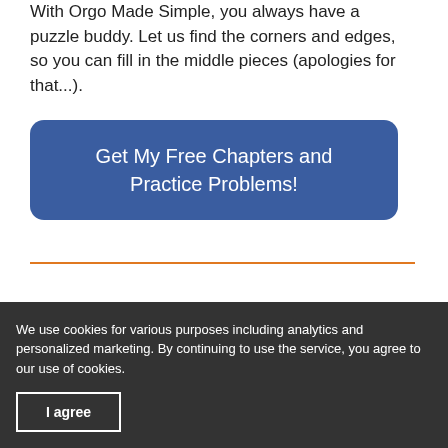With Orgo Made Simple, you always have a puzzle buddy. Let us find the corners and edges, so you can fill in the middle pieces (apologies for that...).
Get My Free Chapters and Practice Problems!
NMR EXAMPLE SPECTRUM
We use cookies for various purposes including analytics and personalized marketing. By continuing to use the service, you agree to our use of cookies.
I agree